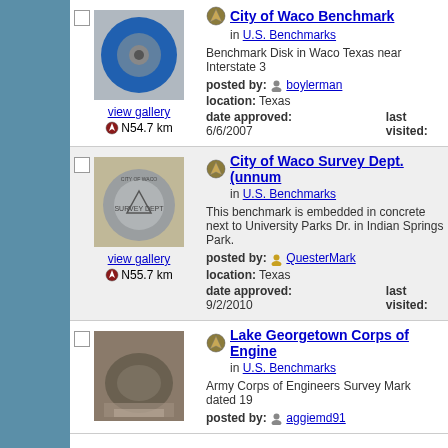[Figure (photo): Blue benchmark disk with central metal bolt, City of Waco Benchmark]
view gallery
N54.7 km
City of Waco Benchmark
in U.S. Benchmarks
Benchmark Disk in Waco Texas near Interstate 3
posted by: boylerman
location: Texas
date approved: 6/6/2007    last visited:
[Figure (photo): Gray concrete benchmark disk with triangle symbol, City of Waco Survey Dept]
view gallery
N55.7 km
City of Waco Survey Dept. (unnum...
in U.S. Benchmarks
This benchmark is embedded in concrete next to University Parks Dr. in Indian Springs Park.
posted by: QuesterMark
location: Texas
date approved: 9/2/2010    last visited:
[Figure (photo): Army Corps of Engineers benchmark disk with debris around it, Lake Georgetown]
view gallery
Lake Georgetown Corps of Engine...
in U.S. Benchmarks
Army Corps of Engineers Survey Mark dated 19
posted by: aggiemd91